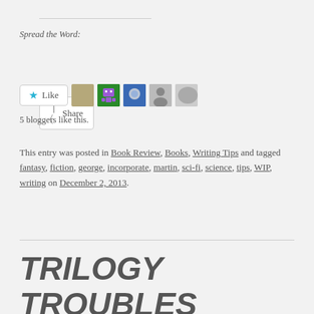Spread the Word:
[Figure (other): Share button with share icon]
[Figure (other): Like button with star icon and 5 blogger avatar thumbnails]
5 bloggers like this.
This entry was posted in Book Review, Books, Writing Tips and tagged fantasy, fiction, george, incorporate, martin, sci-fi, science, tips, WIP, writing on December 2, 2013.
TRILOGY TROUBLES
6 Replies